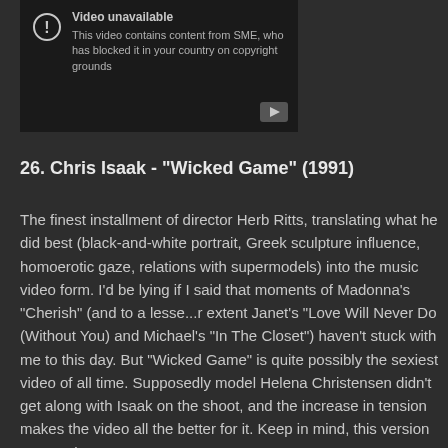[Figure (screenshot): YouTube video unavailable placeholder with exclamation icon and text: 'Video unavailable. This video contains content from SME, who has blocked it in your country on copyright grounds.' YouTube play button in bottom right corner.]
26. Chris Isaak - "Wicked Game" (1991)
The finest installment of director Herb Ritts, translating what he did best (black-and-white portrait, Greek sculpture influence, homoerotic gaze, relations with supermodels) into the music video form. I'd be lying if I said that moments of Madonna's "Cherish" (and to a lesse...r extent Janet's "Love Will Never Do (Without You) and Michael's "In The Closet") haven't stuck with me to this day. But "Wicked Game" is quite possibly the sexiest video of all time. Supposedly model Helena Christensen didn't get along with Isaak on the shoot, and the increase in tension makes the video all the better for it. Keep in mind, this version trumps the one